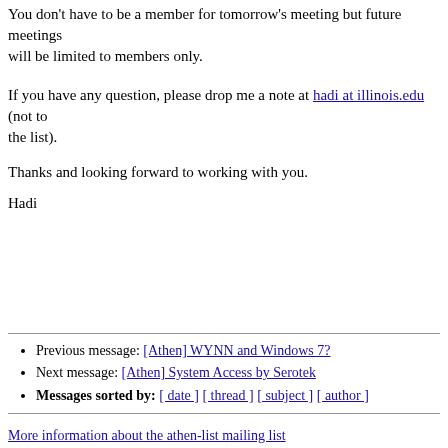You don't have to be a member for tomorrow's meeting but future meetings will be limited to members only.
If you have any question, please drop me a note at hadi at illinois.edu (not to the list).
Thanks and looking forward to working with you.
Hadi
Previous message: [Athen] WYNN and Windows 7?
Next message: [Athen] System Access by Serotek
Messages sorted by: [ date ] [ thread ] [ subject ] [ author ]
More information about the athen-list mailing list